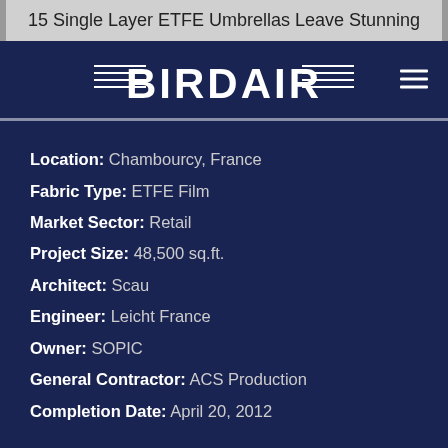15 Single Layer ETFE Umbrellas Leave Stunning
[Figure (logo): BirdAir company logo in white on dark navy background, with decorative horizontal lines on either side of the text]
Location: Chambourcy, France
Fabric Type: ETFE Film
Market Sector: Retail
Project Size: 48,500 sq.ft.
Architect: Scau
Engineer: Leicht France
Owner: SOPIC
General Contractor: ACS Production
Completion Date: April 20, 2012